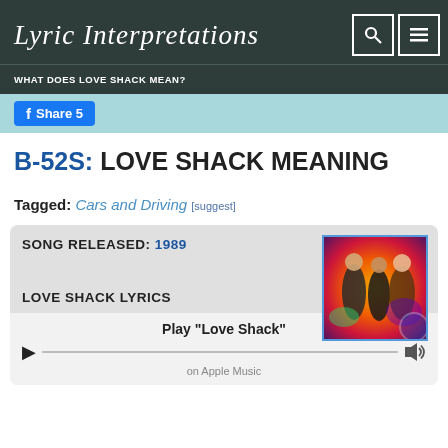Lyric Interpretations
WHAT DOES LOVE SHACK MEAN?
Share 5
B-52S: LOVE SHACK MEANING
Tagged: Cars and Driving [suggest]
SONG RELEASED: 1989
[Figure (photo): Album art for B-52s Love Shack - colorful photo of band members with psychedelic background]
LOVE SHACK LYRICS
Play "Love Shack" on Apple Music